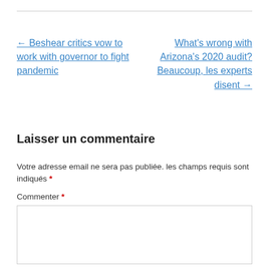← Beshear critics vow to work with governor to fight pandemic
What's wrong with Arizona's 2020 audit? Beaucoup, les experts disent →
Laisser un commentaire
Votre adresse email ne sera pas publiée. les champs requis sont indiqués *
Commenter *